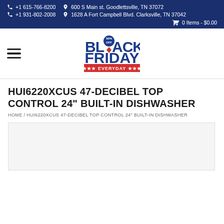+1 615-766-8200 | 600 S Main st. Goodlettsville, TN 37072 | +1 931-802-2008 | 1628 A Fort Campbell Blvd. Clarksville, TN 37042 | 0 Items - $0.00
[Figure (logo): Black Friday Everyday logo with '50% OFF' text, bold stylized text in blue and red with stars]
HUI6220XCUS 47-DECIBEL TOP CONTROL 24" BUILT-IN DISHWASHER
HOME / HUI6220XCUS 47-DECIBEL TOP CONTROL 24" BUILT-IN DISHWASHER
[Figure (photo): Product image area (light gray placeholder box)]